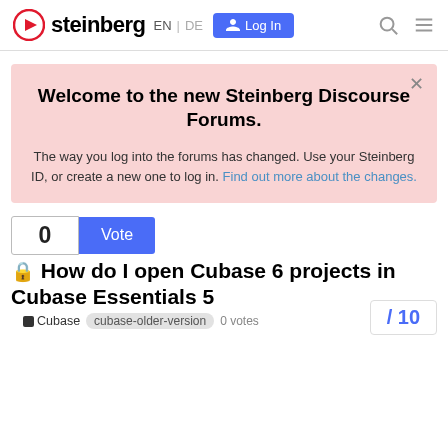steinberg EN | DE Log In
Welcome to the new Steinberg Discourse Forums.

The way you log into the forums has changed. Use your Steinberg ID, or create a new one to log in. Find out more about the changes.
0   Vote
🔒 How do I open Cubase 6 projects in Cubase Essentials 5
Cubase  cubase-older-version  0 votes   / 10